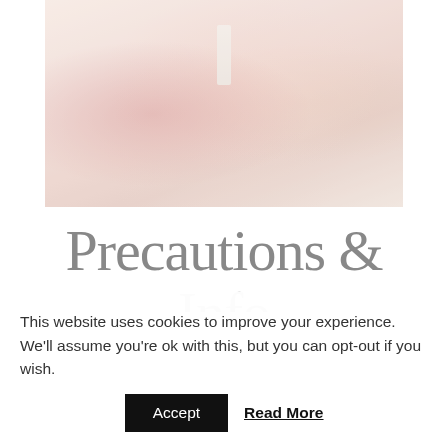[Figure (photo): A blurred, soft-focus spa-themed photo showing candles, small white vessels, a pink flower or fabric, and a bowl, arranged on a light surface with warm pinkish-beige tones.]
Precautions &
This website uses cookies to improve your experience. We'll assume you're ok with this, but you can opt-out if you wish.
Accept   Read More